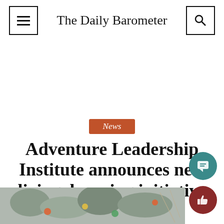The Daily Barometer
News
Adventure Leadership Institute announces new living, learning initiative
[Figure (photo): Rock climbing wall with colorful holds, close-up view]